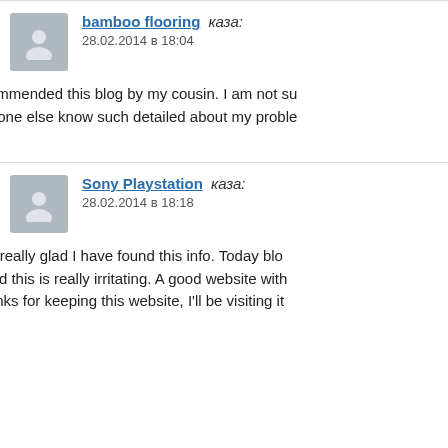bamboo flooring каза: 28.02.2014 в 18:04
I was recommended this blog by my cousin. I am not su him as no one else know such detailed about my proble
Отговор
Sony Playstation каза: 28.02.2014 в 18:18
Hiya, I am really glad I have found this info. Today blo and net and this is really irritating. A good website with need. Thanks for keeping this website, I'll be visiting it it.
Отговор